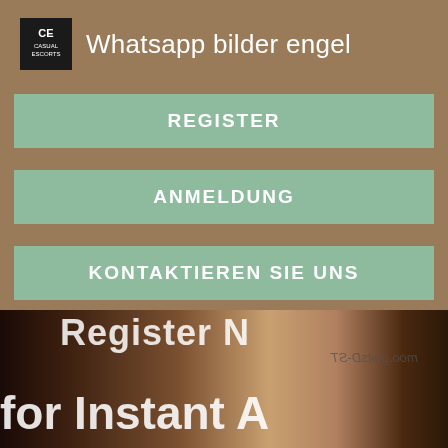Whatsapp bilder engel
REGISTER
ANMELDUNG
KONTAKTIEREN SIE UNS
[Figure (photo): Background photo of people with overlaid text reading 'Register N... for Instant A...' and a watermark]